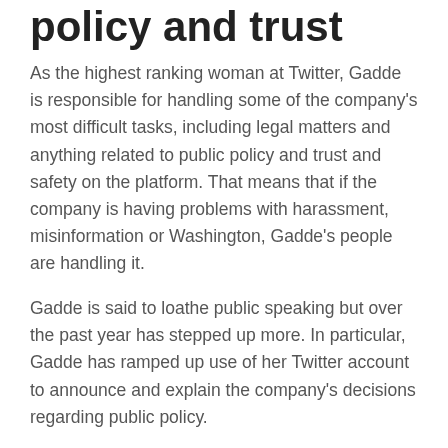policy and trust
As the highest ranking woman at Twitter, Gadde is responsible for handling some of the company's most difficult tasks, including legal matters and anything related to public policy and trust and safety on the platform. That means that if the company is having problems with harassment, misinformation or Washington, Gadde's people are handling it.
Gadde is said to loathe public speaking but over the past year has stepped up more. In particular, Gadde has ramped up use of her Twitter account to announce and explain the company's decisions regarding public policy.
She played a crucial role in determining what to do with the account of former President Donald Trump following the Jan. 6 insurrection at the U.S. Capitol. The...